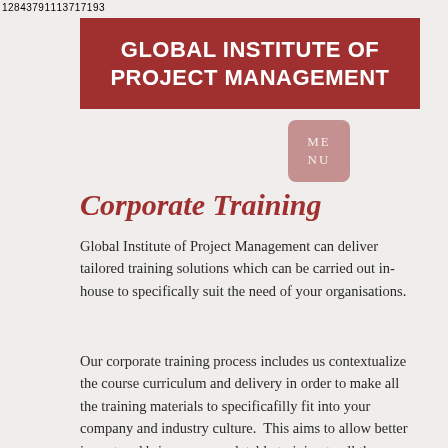12843791113717193
GLOBAL INSTITUTE OF PROJECT MANAGEMENT
Corporate Training
Global Institute of Project Management can deliver tailored training solutions which can be carried out in-house to specifically suit the need of your organisations.
Our corporate training process includes us contextualize the course curriculum and delivery in order to make all the training materials to specificafilly fit into your company and industry culture.  This aims to allow better impart and bring a more relatable training to all the delegates.